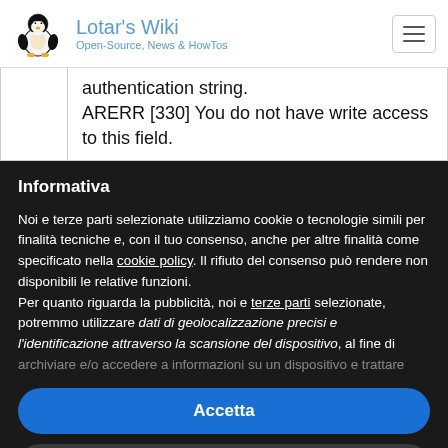Lotar's Wiki — Open-Source, News & HowTos
authentication string.
ARERR [330] You do not have write access to this field.
Informativa
Noi e terze parti selezionate utilizziamo cookie o tecnologie simili per finalità tecniche e, con il tuo consenso, anche per altre finalità come specificato nella cookie policy. Il rifiuto del consenso può rendere non disponibili le relative funzioni.
Per quanto riguarda la pubblicità, noi e terze parti selezionate, potremmo utilizzare dati di geolocalizzazione precisi e l'identificazione attraverso la scansione del dispositivo, al fine di archiviare e/o accedere a informazioni su un dispositivo e trattare
Accetta
Scopri di più e personalizza